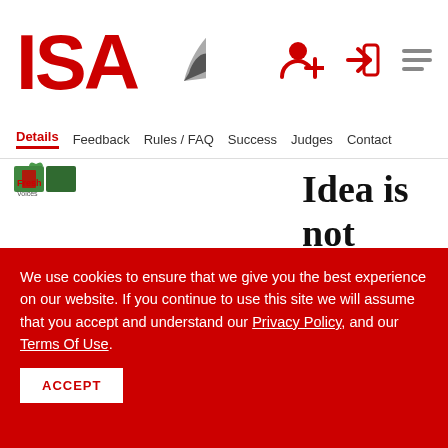[Figure (logo): ISA logo with stylized quill/feather and red text]
Details  Feedback  Rules / FAQ  Success  Judges  Contact
[Figure (logo): Fresh Voices logo - small logo with leaf/book icon]
Idea is not going to be ripped off?
As a
We use cookies to ensure that we give you the best experience on our website. If you continue to use this site we will assume that you accept and understand our Privacy Policy, and our Terms Of Use.
ACCEPT